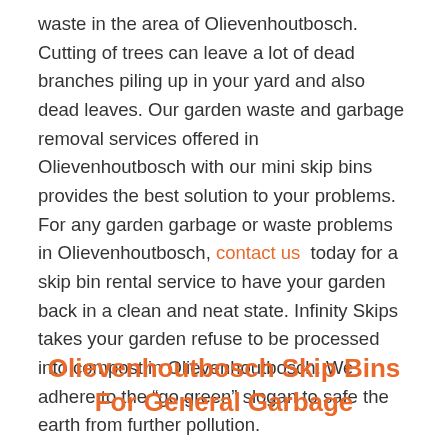waste in the area of Olievenhoutbosch. Cutting of trees can leave a lot of dead branches piling up in your yard and also dead leaves. Our garden waste and garbage removal services offered in Olievenhoutbosch with our mini skip bins provides the best solution to your problems. For any garden garbage or waste problems in Olievenhoutbosch, contact us today for a skip bin rental service to have your garden back in a clean and neat state. Infinity Skips takes your garden refuse to be processed into compost in Olievenhoutbosch. We adhere to the “go green” slogan to safe the earth from further pollution.
Olievenhoutbosch Skip Bins For General Garbage